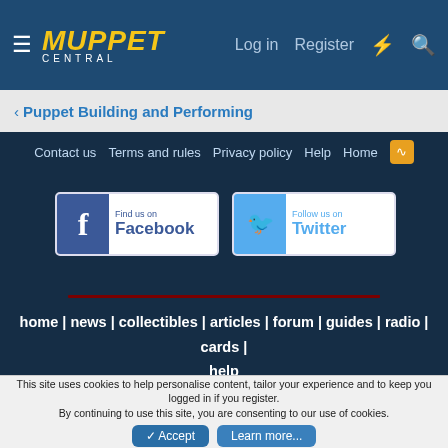Muppet Central — Log in | Register
< Puppet Building and Performing
Contact us  Terms and rules  Privacy policy  Help  Home
[Figure (logo): Find us on Facebook button]
[Figure (logo): Follow us on Twitter button]
home | news | collectibles | articles | forum | guides | radio | cards | help
This site uses cookies to help personalise content, tailor your experience and to keep you logged in if you register. By continuing to use this site, you are consenting to our use of cookies.